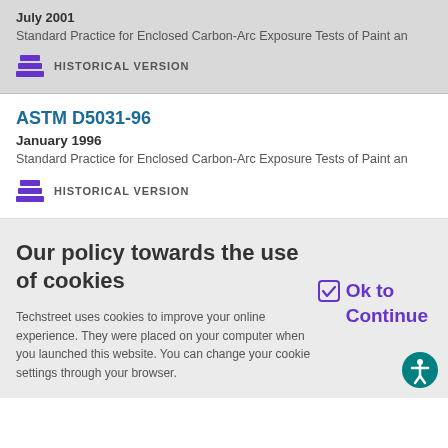July 2001
Standard Practice for Enclosed Carbon-Arc Exposure Tests of Paint an
HISTORICAL VERSION
ASTM D5031-96
January 1996
Standard Practice for Enclosed Carbon-Arc Exposure Tests of Paint an
HISTORICAL VERSION
Our policy towards the use of cookies
Techstreet uses cookies to improve your online experience. They were placed on your computer when you launched this website. You can change your cookie settings through your browser.
Ok to Continue